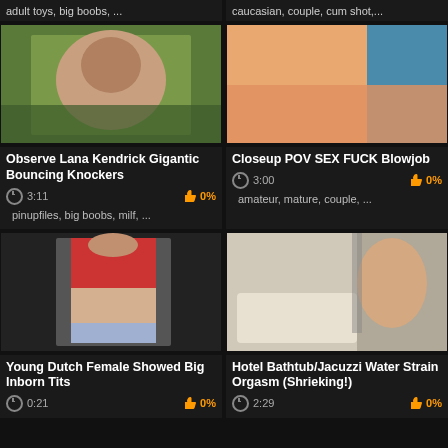adult toys, big boobs, ...
caucasian, couple, cum shot,...
[Figure (photo): Woman outdoors holding chest]
[Figure (photo): Closeup skin tones blurred]
Observe Lana Kendrick Gigantic Bouncing Knockers
Closeup POV SEX FUCK Blowjob
3:11  0%
3:00  0%
pinupfiles, big boobs, milf, ...
amateur, mature, couple, ...
[Figure (photo): Young woman in red top and underwear]
[Figure (photo): Person in bathtub hotel bathroom]
Young Dutch Female Showed Big Inborn Tits
Hotel Bathtub/Jacuzzi Water Strain Orgasm (Shrieking!)
0:21  0%
2:29  0%